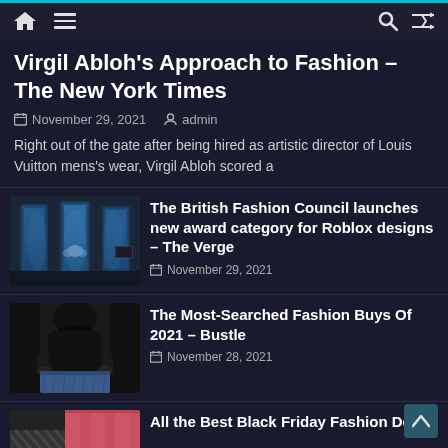Navigation bar with home, menu, search, and shuffle icons
Virgil Abloh's Approach to Fashion – The New York Times
November 29, 2021  admin
Right out of the gate after being hired as artistic director of Louis Vuitton mens's wear, Virgil Abloh scored a
[Figure (photo): Fashion runway or store display with blue-lit vertical panels and butterfly motif]
The British Fashion Council launches new award category for Roblox designs – The Verge
November 29, 2021
[Figure (photo): Person wearing dark turtleneck with hands on hips, denim skirt below]
The Most-Searched Fashion Buys Of 2021 – Bustle
November 28, 2021
[Figure (photo): Partial image of pink/red jacket with striped patterns at bottom]
All the Best Black Friday Fashion Deals